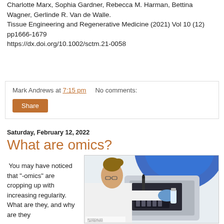Charlotte Marx, Sophia Gardner, Rebecca M. Harman, Bettina Wagner, Gerlinde R. Van de Walle.
Tissue Engineering and Regenerative Medicine (2021) Vol 10 (12) pp1666-1679
https://dx.doi.org/10.1002/sctm.21-0058
Mark Andrews at 7:15 pm   No comments:
Share
Saturday, February 12, 2022
What are omics?
You may have noticed that “-omics” are cropping up with increasing regularity. What are they, and why are they
[Figure (photo): Laboratory scientist in white coat and blue gloves operating automated lab equipment with blue circular element]